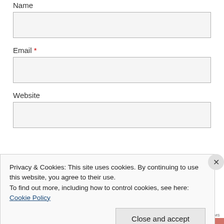Name
[Figure (other): Empty text input box for Name field]
Email *
[Figure (other): Empty text input box for Email field]
Website
[Figure (other): Empty text input box for Website field]
[Figure (other): Blue submit button bar]
Privacy & Cookies: This site uses cookies. By continuing to use this website, you agree to their use. To find out more, including how to control cookies, see here: Cookie Policy
Close and accept